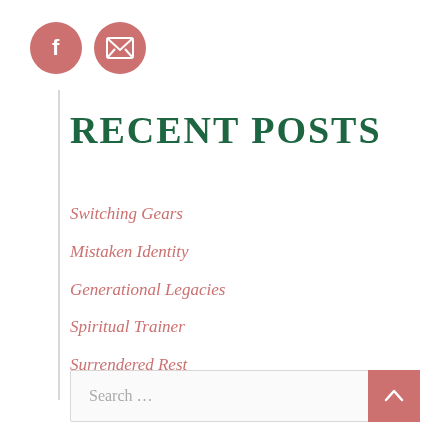[Figure (illustration): Two circular icon buttons with salmon/rose color: a Facebook icon (f) and an envelope/email icon]
RECENT POSTS
Switching Gears
Mistaken Identity
Generational Legacies
Spiritual Trainer
Surrendered Rest
Search ...